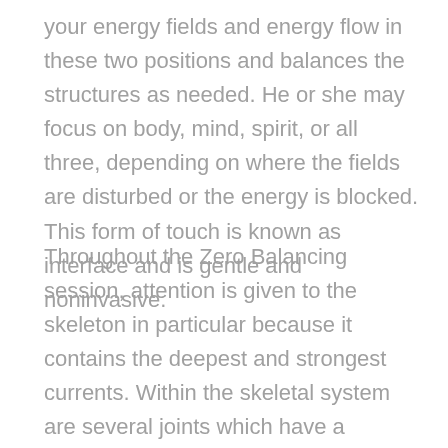your energy fields and energy flow in these two positions and balances the structures as needed. He or she may focus on body, mind, spirit, or all three, depending on where the fields are disturbed or the energy is blocked. This form of touch is known as interface and is gentle and noninvasive.
Throughout the Zero Balancing session, attention is given to the skeleton in particular because it contains the deepest and strongest currents. Within the skeletal system are several joints which have a minimal range of motion and whose main function is related to the transmission of energetic forces. These joints